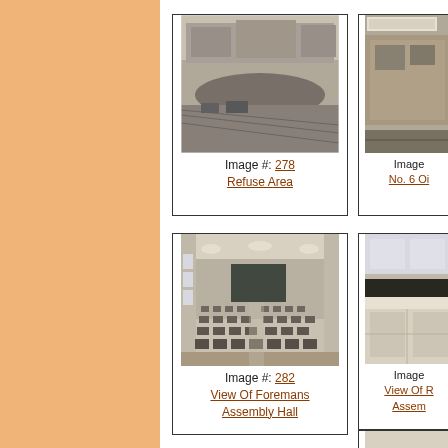[Figure (photo): Black and white aerial/elevated view of an industrial refuse area with piles of debris and buildings in background. Image #278, Refuse Area.]
Image #: 278
Refuse Area
[Figure (photo): Partial black and white photo of industrial exterior, No. 6 Oil (partially visible).]
Image #: [partial]
No. 6 Oi[l] (partial)
[Figure (photo): Black and white interior photograph of a large assembly hall with rows of chairs facing a blackboard at far end. Ceiling lights visible. Image #282, View Of Foremans Assembly Hall.]
Image #: 282
View Of Foremans Assembly Hall
[Figure (photo): Partial black and white interior photo showing what appears to be a kitchen or laboratory counter area. View Of R[oom] Assembly (partial).]
Image #: [partial]
View Of R[oom]
Assem[bly] (partial)